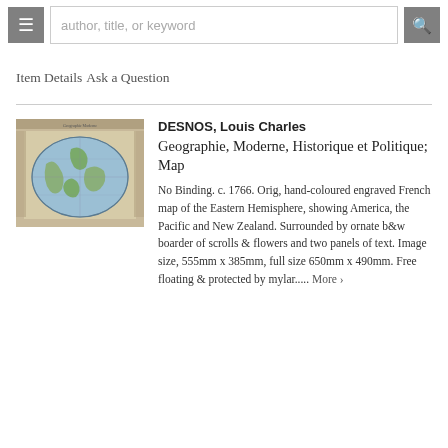author, title, or keyword
Item Details
Ask a Question
[Figure (photo): Thumbnail image of an antique French map showing the Eastern Hemisphere in oval projection with decorative border.]
DESNOS, Louis Charles
Geographie, Moderne, Historique et Politique; Map
No Binding. c. 1766. Orig, hand-coloured engraved French map of the Eastern Hemisphere, showing America, the Pacific and New Zealand. Surrounded by ornate b&w boarder of scrolls & flowers and two panels of text. Image size, 555mm x 385mm, full size 650mm x 490mm. Free floating & protected by mylar..... More ›